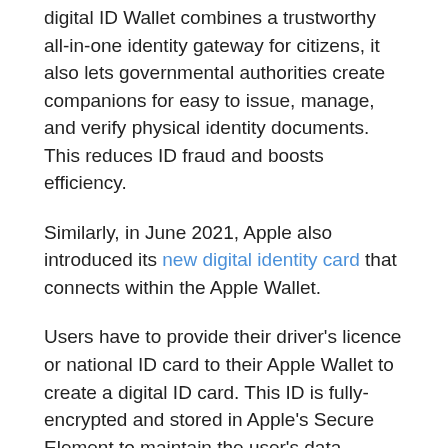digital ID Wallet combines a trustworthy all-in-one identity gateway for citizens, it also lets governmental authorities create companions for easy to issue, manage, and verify physical identity documents. This reduces ID fraud and boosts efficiency.
Similarly, in June 2021, Apple also introduced its new digital identity card that connects within the Apple Wallet.
Users have to provide their driver's licence or national ID card to their Apple Wallet to create a digital ID card. This ID is fully-encrypted and stored in Apple's Secure Element to maintain the user's data privacy.